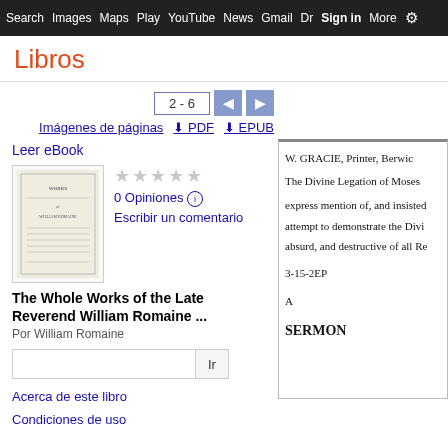Search  Images  Maps  Play  YouTube  News  Gmail  Dr  Sign in  More  ⚙
Libros
2 - 6
Imágenes de páginas   ⬇ PDF   ⬇ EPUB
Leer eBook
0 Opiniones   ℹ
Escribir un comentario
The Whole Works of the Late Reverend William Romaine ...
Por William Romaine
Acerca de este libro
Condiciones de uso
W. GRACIE, Printer, Berwic
The Divine Legation of Moses 
express mention of, and insisted
attempt to demonstrate the Divi
absurd, and destructive of all Re
3-15-2EP
A
SERMON